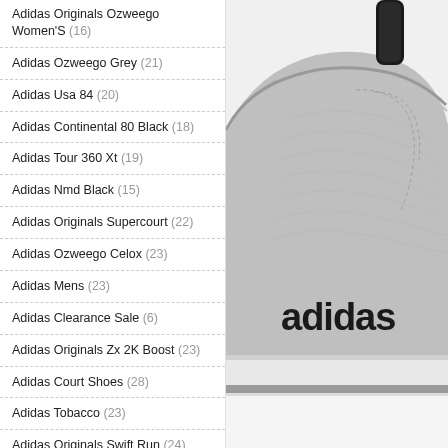Adidas Originals Ozweego Women'S (16)
Adidas Ozweego Grey (21)
Adidas Usa 84 (20)
Adidas Continental 80 Black (18)
Adidas Tour 360 Xt (19)
Adidas Nmd Black (15)
Adidas Originals Supercourt (22)
Adidas Ozweego Celox (23)
Adidas Mens (23)
Adidas Clearance Sale (6)
Adidas Originals Zx 2K Boost (23)
Adidas Court Shoes (28)
Adidas Tobacco (23)
Adidas Originals Swift Run (24)
Adidas Zx 10000 (25)
[Figure (photo): Close-up photo of the heel/back of a grey Adidas sneaker with white sole, showing the adidas logo in black text on the side, with a black pull tab at the top.]